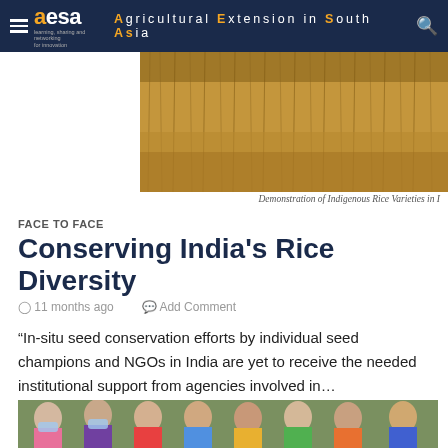aesa Agricultural Extension in South Asia
[Figure (photo): Golden rice field with dried paddy stalks]
Demonstration of Indigenous Rice Varieties in I
FACE TO FACE
Conserving India's Rice Diversity
11 months ago   Add Comment
“In-situ seed conservation efforts by individual seed champions and NGOs in India are yet to receive the needed institutional support from agencies involved in…
[Figure (photo): Group of women wearing face masks and colorful traditional clothing standing together outdoors]